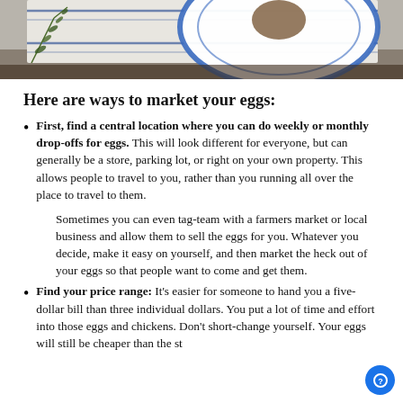[Figure (photo): Top portion of a photo showing a blue-rimmed white plate on a striped linen cloth with a rosemary sprig on a dark wooden surface]
Here are ways to market your eggs:
First, find a central location where you can do weekly or monthly drop-offs for eggs. This will look different for everyone, but can generally be a store, parking lot, or right on your own property. This allows people to travel to you, rather than you running all over the place to travel to them.

Sometimes you can even tag-team with a farmers market or local business and allow them to sell the eggs for you. Whatever you decide, make it easy on yourself, and then market the heck out of your eggs so that people want to come and get them.
Find your price range: It’s easier for someone to hand you a five-dollar bill than three individual dollars. You put a lot of time and effort into those eggs and chickens. Don’t short-change yourself. Your eggs will still be cheaper than the st